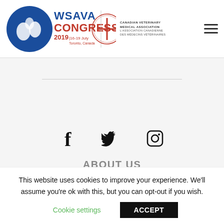[Figure (logo): WSAVA Congress 2019 Toronto Canada logo with blue circular emblem and Canadian Veterinary Medical Association logo]
[Figure (illustration): Three social media icons: Facebook (f), Twitter (bird), Instagram (camera)]
ABOUT US
The WSAVA World Congress is an opportunity for our global
This website uses cookies to improve your experience. We'll assume you're ok with this, but you can opt-out if you wish.
Cookie settings   ACCEPT